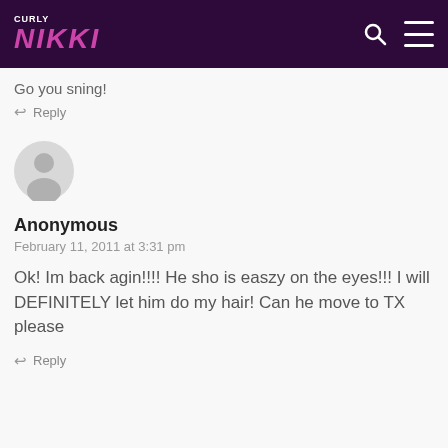Curly Nikki
Go you sning!
Reply
[Figure (illustration): Default user avatar: grey circle with person silhouette]
Anonymous
February 11, 2011 at 3:31 pm
Ok! Im back agin!!!! He sho is easzy on the eyes!!! I will DEFINITELY let him do my hair! Can he move to TX please
Reply